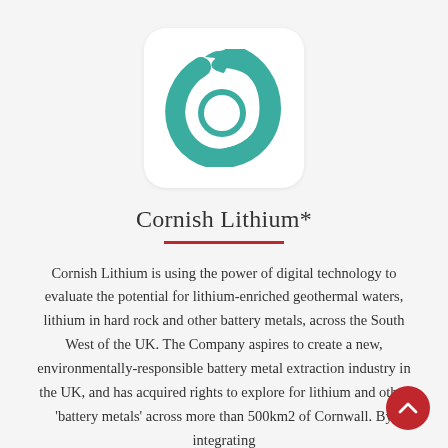[Figure (logo): Cornish Lithium logo — teal droplet/C shape with 'Li' text inside a white rounded-corner box]
Cornish Lithium*
Cornish Lithium is using the power of digital technology to evaluate the potential for lithium-enriched geothermal waters, lithium in hard rock and other battery metals, across the South West of the UK. The Company aspires to create a new, environmentally-responsible battery metal extraction industry in the UK, and has acquired rights to explore for lithium and other 'battery metals' across more than 500km2 of Cornwall. By integrating